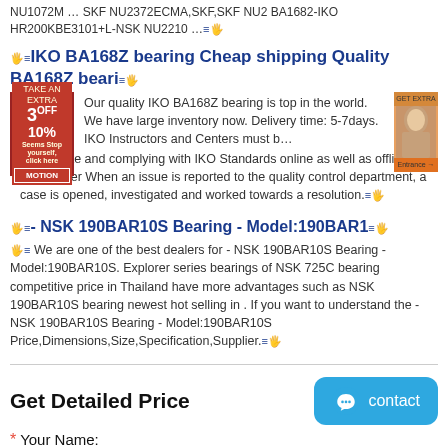NU1072M ... SKF NU2372ECMA,SKF,SKF NU2 BA1682-IKO HR200KBE3101+L-NSK NU2210 ...
IKO BA168Z bearing Cheap shipping Quality BA168Z beari
Our quality IKO BA168Z bearing is top in the world. We have large inventory now. Delivery time: 5-7days. IKO Instructors and Centers must be up to date and complying with IKO Standards online as well as offline. Remember When an issue is reported to the quality control department, a case is opened, investigated and worked towards a resolution.
- NSK 190BAR10S Bearing - Model:190BAR10S
We are one of the best dealers for - NSK 190BAR10S Bearing - Model:190BAR10S. Explorer series bearings of NSK 725C bearing competitive price in Thailand have more advantages such as NSK 190BAR10S bearing newest hot selling in . If you want to understand the - NSK 190BAR10S Bearing - Model:190BAR10S Price,Dimensions,Size,Specification,Supplier.
Get Detailed Price
Your Name: